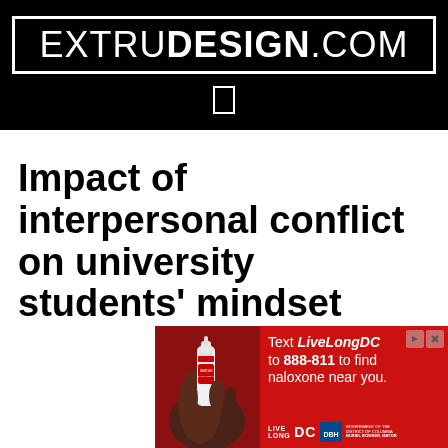EXTRUDESIGN.COM
Impact of interpersonal conflict on university students' mindset
[Figure (illustration): Red advertisement banner for LiveLongDC showing a hand holding a Narcan nasal spray device. Text reads: Text LiveLongDC to 888-811 to find naloxone near you. Features LIVE LONG DC logo, DBH logo, and DC Government / Muriel Bowser Mayor branding.]